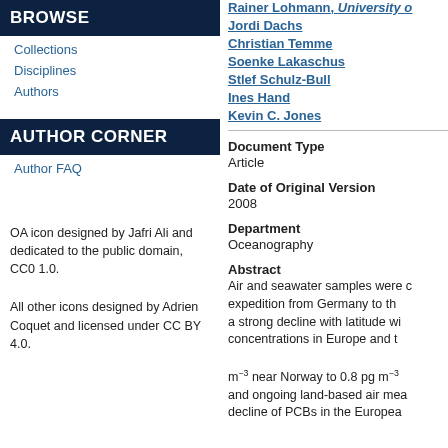BROWSE
Collections
Disciplines
Authors
AUTHOR CORNER
Author FAQ
OA icon designed by Jafri Ali and dedicated to the public domain, CC0 1.0.
All other icons designed by Adrien Coquet and licensed under CC BY 4.0.
Rainer Lohmann, University of...
Jordi Dachs
Christian Temme
Soenke Lakaschus
Stlef Schulz-Bull
Ines Hand
Kevin C. Jones
Document Type
Article
Date of Original Version
2008
Department
Oceanography
Abstract
Air and seawater samples were collected during an expedition from Germany to the... a strong decline with latitude wi... concentrations in Europe and t... m⁻³ near Norway to 0.8 pg m⁻³ and ongoing land-based air mea... decline of PCBs in the European...